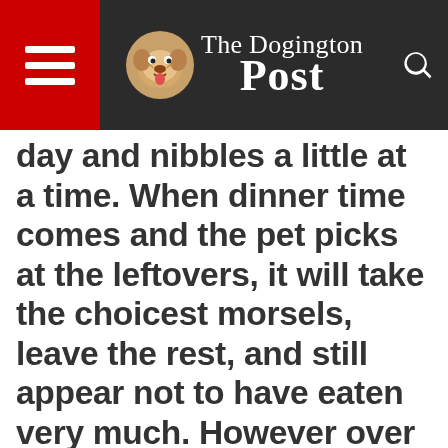The Dogington Post
day and nibbles a little at a time. When dinner time comes and the pet picks at the leftovers, it will take the choicest morsels, leave the rest, and still appear not to have eaten very much. However over a 24-hour period “THE NIBBLER’S” total calorie intake is excessive and it gains